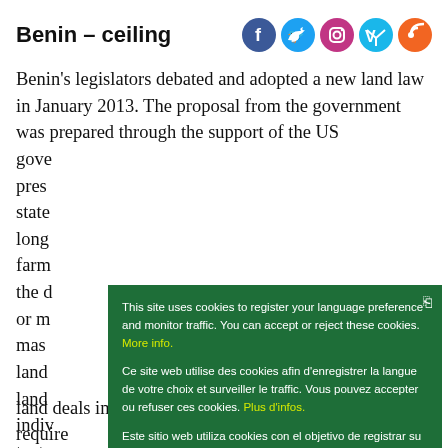Benin – ceiling
[Figure (infographic): Social media icons: Facebook, Twitter, Instagram, Vimeo, RSS]
Benin's legislators debated and adopted a new land law in January 2013. The proposal from the government was prepared through the support of the US gove[rnment...] pres[ented as...] state[...] long[...] farm[...] the d[...] or m[...] mas[...] land[...] land[...] indiv[...] text [...] land deals involving more than two hectares will require
This site uses cookies to register your language preference and monitor traffic. You can accept or reject these cookies. More info.

Ce site web utilise des cookies afin d'enregistrer la langue de votre choix et surveiller le traffic. Vous pouvez accepter ou refuser ces cookies. Plus d'infos.

Este sitio web utiliza cookies con el objetivo de registrar su idioma preferido y controlar el tráfico. Puede aceptar o rechazar estas cookies. Mayor información.

Ok